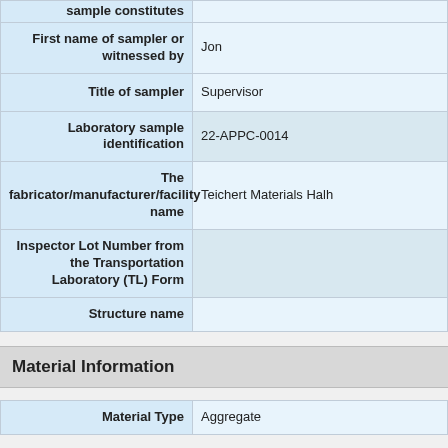| Field | Value |
| --- | --- |
| sample constitutes |  |
| First name of sampler or witnessed by | Jon |
| Title of sampler | Supervisor |
| Laboratory sample identification | 22-APPC-0014 |
| The fabricator/manufacturer/facility name | Teichert Materials Halh |
| Inspector Lot Number from the Transportation Laboratory (TL) Form |  |
| Structure name |  |
Material Information
| Field | Value |
| --- | --- |
| Material Type | Aggregate |